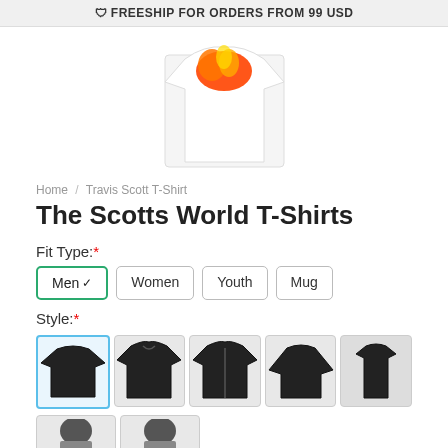🛡 FREESHIP FOR ORDERS FROM 99 USD
[Figure (photo): White t-shirt product mockup with flame/fire graphic on front, shown from the front]
Home / Travis Scott T-Shirt
The Scotts World T-Shirts
Fit Type:*
Men (selected)
Women
Youth
Mug
Style:*
[Figure (photo): Grid of t-shirt style options: classic tee (selected with blue border), hoodie, zip hoodie, long sleeve, muscle tank, and partial row below]
[Figure (photo): Partial row of additional style thumbnails showing two items partially visible at bottom]